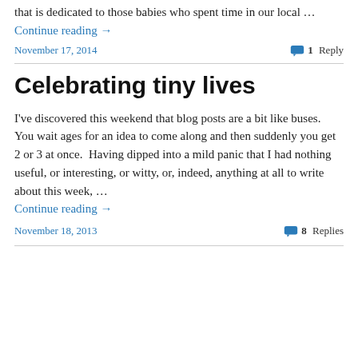that is dedicated to those babies who spent time in our local … Continue reading →
November 17, 2014    1 Reply
Celebrating tiny lives
I've discovered this weekend that blog posts are a bit like buses.  You wait ages for an idea to come along and then suddenly you get 2 or 3 at once.  Having dipped into a mild panic that I had nothing useful, or interesting, or witty, or, indeed, anything at all to write about this week, … Continue reading →
November 18, 2013    8 Replies